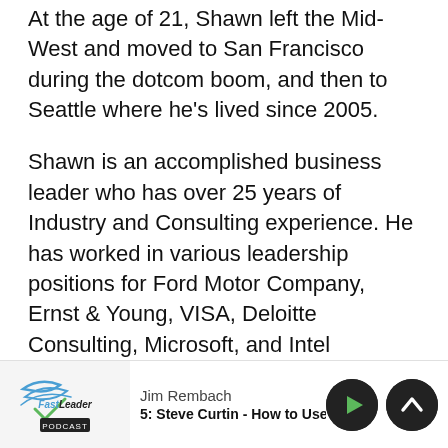At the age of 21, Shawn left the Mid-West and moved to San Francisco during the dotcom boom, and then to Seattle where he's lived since 2005.
Shawn is an accomplished business leader who has over 25 years of Industry and Consulting experience. He has worked in various leadership positions for Ford Motor Company, Ernst & Young, VISA, Deloitte Consulting, Microsoft, and Intel Corporation. He holds an MBA from Purdue University, an MS in Engineering from the University of Michigan and a BS in Mechanical Engineering from Michigan Technological University, and is the author of More El...
[Figure (logo): FastLeader Podcast logo with stylized swoosh]
Jim Rembach
5: Steve Curtin - How to Use Purpose